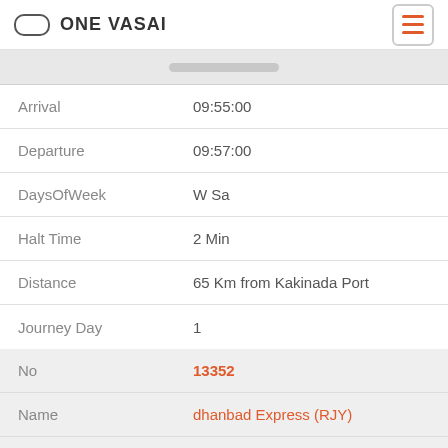ONE VASAI
| Field | Value |
| --- | --- |
| Arrival | 09:55:00 |
| Departure | 09:57:00 |
| DaysOfWeek | W Sa |
| Halt Time | 2 Min |
| Distance | 65 Km from Kakinada Port |
| Journey Day | 1 |
| No | 13352 |
| Name | dhanbad Express (RJY) |
| From | Alappuzha |
| To | Dhanbad Junction |
| Arrival | 10:10:00 |